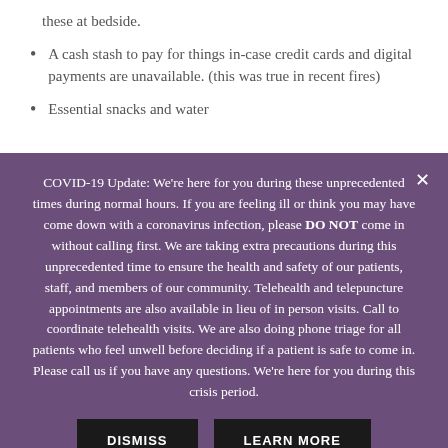these at bedside.
A cash stash to pay for things in-case credit cards and digital payments are unavailable. (this was true in recent fires)
Essential snacks and water
COVID-19 Update: We’re here for you during these unprecedented times during normal hours. If you are feeling ill or think you may have come down with a coronavirus infection, please DO NOT come in without calling first. We are taking extra precautions during this unprecedented time to ensure the health and safety of our patients, staff, and members of our community. Telehealth and telepuncture appointments are also available in lieu of in person visits. Call to coordinate telehealth visits. We are also doing phone triage for all patients who feel unwell before deciding if a patient is safe to come in. Please call us if you have any questions. We’re here for you during this crisis period.